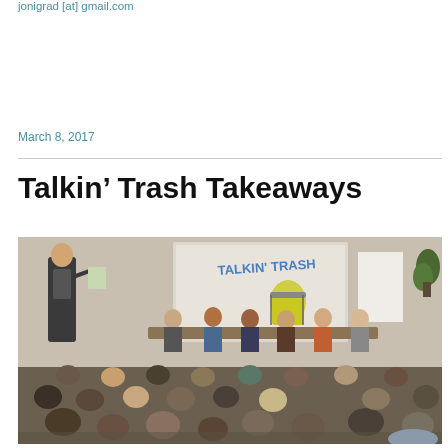jonigrad [at] gmail.com
March 8, 2017
Talkin’ Trash Takeaways
[Figure (photo): Indoor meeting or panel event with audience seated facing a screen projecting 'TALKIN' TRASH' text with a cartoon trash can. A presenter stands at the left holding papers, with panelists seated at a table in the center background.]